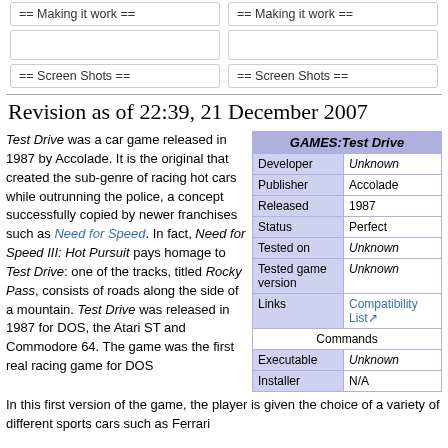== Making it work ==
== Making it work ==
== Screen Shots ==
== Screen Shots ==
Revision as of 22:39, 21 December 2007
Test Drive was a car game released in 1987 by Accolade. It is the original that created the sub-genre of racing hot cars while outrunning the police, a concept successfully copied by newer franchises such as Need for Speed. In fact, Need for Speed III: Hot Pursuit pays homage to Test Drive: one of the tracks, titled Rocky Pass, consists of roads along the side of a mountain. Test Drive was released in 1987 for DOS, the Atari ST and Commodore 64. The game was the first real racing game for DOS
| GAMES:Test Drive |
| --- |
| Developer | Unknown |
| Publisher | Accolade |
| Released | 1987 |
| Status | Perfect |
| Tested on | Unknown |
| Tested game version | Unknown |
| Links | Compatibility List |
| Commands |  |
| Executable | Unknown |
| Installer | N/A |
In this first version of the game, the player is given the choice of a variety of different sports cars such as Ferrari